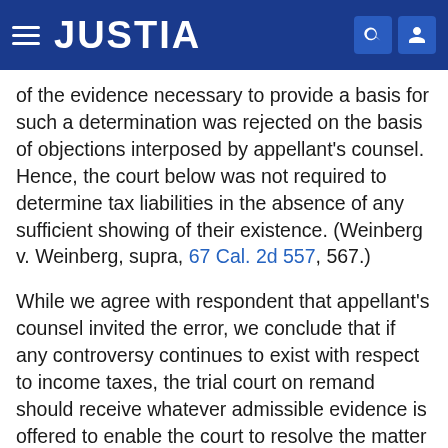JUSTIA
of the evidence necessary to provide a basis for such a determination was rejected on the basis of objections interposed by appellant's counsel. Hence, the court below was not required to determine tax liabilities in the absence of any sufficient showing of their existence. (Weinberg v. Weinberg, supra, 67 Cal. 2d 557, 567.)
While we agree with respondent that appellant's counsel invited the error, we conclude that if any controversy continues to exist with respect to income taxes, the trial court on remand should receive whatever admissible evidence is offered to enable the court to resolve the matter on an equitable basis.
The portion of the judgment relating to child support is reversed. On remand the trial court will redetermine the amount to be awarded appellant for the support of the minor children and also determine whatever…